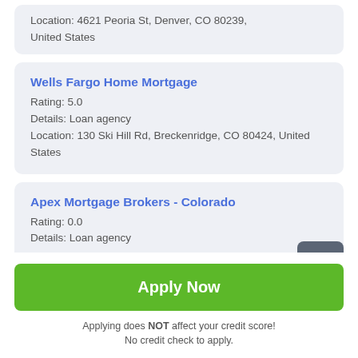Location: 4621 Peoria St, Denver, CO 80239, United States
Wells Fargo Home Mortgage
Rating: 5.0
Details: Loan agency
Location: 130 Ski Hill Rd, Breckenridge, CO 80424, United States
Apex Mortgage Brokers - Colorado
Rating: 0.0
Details: Loan agency
Apply Now
Applying does NOT affect your credit score!
No credit check to apply.